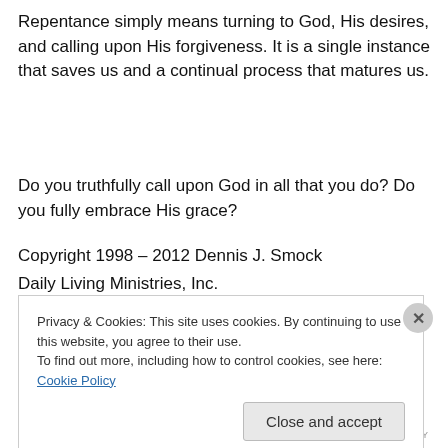Repentance simply means turning to God, His desires, and calling upon His forgiveness. It is a single instance that saves us and a continual process that matures us.
Do you truthfully call upon God in all that you do? Do you fully embrace His grace?
Copyright 1998 – 2012 Dennis J. Smock
Daily Living Ministries, Inc.
Privacy & Cookies: This site uses cookies. By continuing to use this website, you agree to their use.
To find out more, including how to control cookies, see here: Cookie Policy